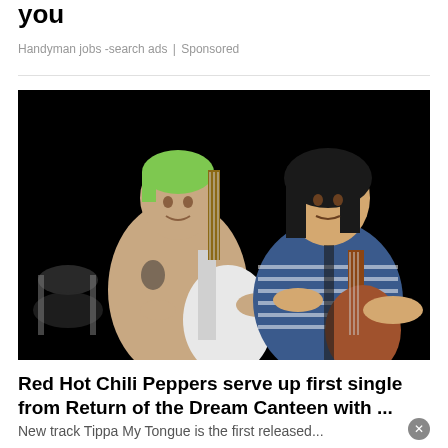you
Handyman jobs -search ads | Sponsored
[Figure (photo): Two musicians performing on stage in front of a black background. On the left, a shirtless tattooed man with green hair playing a white bass guitar. On the right, a man in a blue striped polo shirt playing a brown electric guitar.]
Red Hot Chili Peppers serve up first single from Return of the Dream Canteen with ...
New track Tippa My Tongue is the first released...